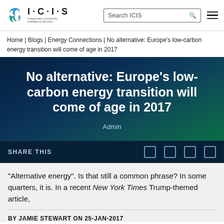ICIS | Independent Commodity Intelligence Services
Home | Blogs | Energy Connections | No alternative: Europe's low-carbon energy transition will come of age in 2017
No alternative: Europe's low-carbon energy transition will come of age in 2017
Admin
SHARE THIS
“Alternative energy”. Is that still a common phrase? In some quarters, it is. In a recent New York Times Trump-themed article,
BY JAMIE STEWART ON 25-JAN-2017